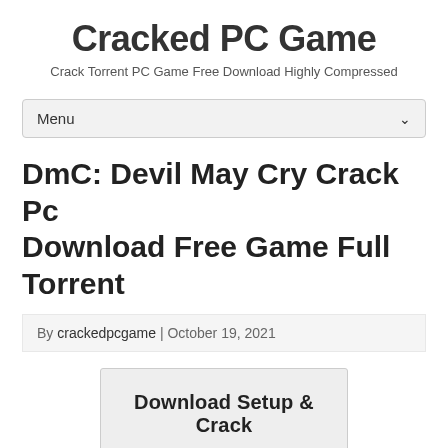Cracked PC Game
Crack Torrent PC Game Free Download Highly Compressed
Menu
DmC: Devil May Cry Crack Pc Download Free Game Full Torrent
By crackedpcgame | October 19, 2021
[Figure (other): Download Setup & Crack button]
DmC: Devil May Cry Crack Plus Torrent